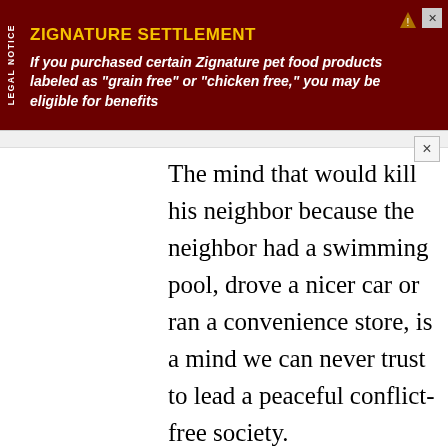[Figure (other): Advertisement banner for Zignature Settlement legal notice. Dark red background with yellow title 'ZIGNATURE SETTLEMENT' and white italic body text. 'LEGAL NOTICE' text in vertical sidebar on left.]
The mind that would kill his neighbor because the neighbor had a swimming pool, drove a nicer car or ran a convenience store, is a mind we can never trust to lead a peaceful conflict-free society.

Logically the problem